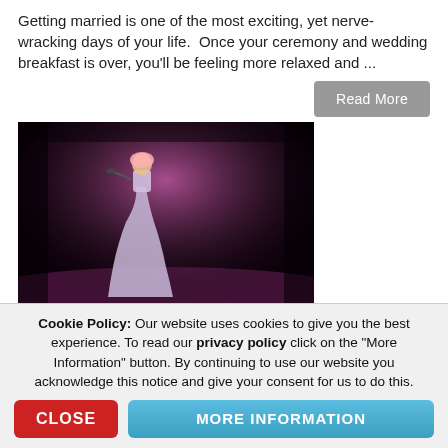Getting married is one of the most exciting, yet nerve-wracking days of your life.  Once your ceremony and wedding breakfast is over, you'll be feeling more relaxed and ...
Read More
[Figure (photo): A woman in a sparkly gown singing on a stage lit with pink/purple stage lighting, holding a microphone]
Cookie Policy: Our website uses cookies to give you the best experience. To read our privacy policy click on the "More Information" button. By continuing to use our website you acknowledge this notice and give your consent for us to do this.
CLOSE
MORE INFORMATION